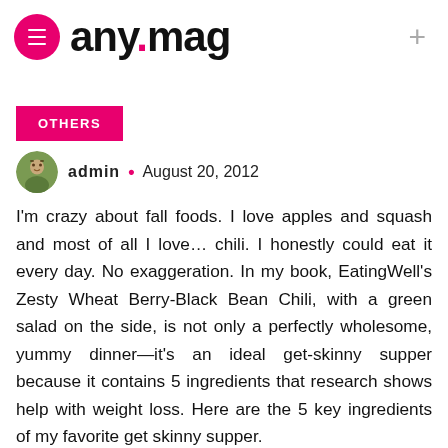any.mag
OTHERS
admin • August 20, 2012
I'm crazy about fall foods. I love apples and squash and most of all I love… chili. I honestly could eat it every day. No exaggeration. In my book, EatingWell's Zesty Wheat Berry-Black Bean Chili, with a green salad on the side, is not only a perfectly wholesome, yummy dinner—it's an ideal get-skinny supper because it contains 5 ingredients that research shows help with weight loss. Here are the 5 key ingredients of my favorite get skinny supper.